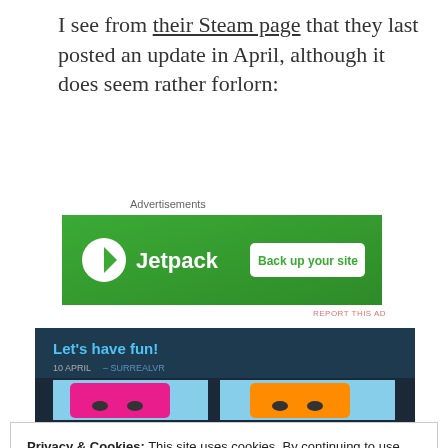I see from their Steam page that they last posted an update in April, although it does seem rather forlorn:
Advertisements
[Figure (screenshot): Jetpack advertisement banner with green background, Jetpack logo on left, 'Back up your site' button on right]
REPORT THIS AD
[Figure (screenshot): Steam game page screenshot showing 'Let's have fun!' header dated 10 APRIL, with colorful cartoon character images below]
Privacy & Cookies: This site uses cookies. By continuing to use this website, you agree to their use.
To find out more, including how to control cookies, see here: Cookie Policy
Close and accept